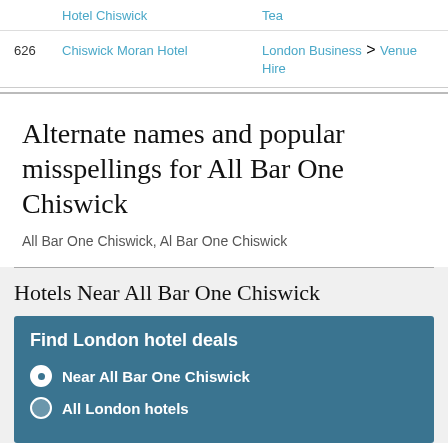| # | Name | Category |
| --- | --- | --- |
|  | Hotel Chiswick | Tea |
| 626 | Chiswick Moran Hotel | London Business > Venue Hire |
Alternate names and popular misspellings for All Bar One Chiswick
All Bar One Chiswick, Al Bar One Chiswick
Hotels Near All Bar One Chiswick
Find London hotel deals
Near All Bar One Chiswick
All London hotels